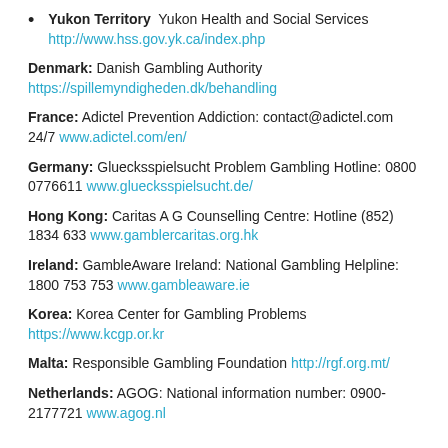Yukon Territory  Yukon Health and Social Services http://www.hss.gov.yk.ca/index.php
Denmark: Danish Gambling Authority https://spillemyndigheden.dk/behandling
France: Adictel Prevention Addiction: contact@adictel.com 24/7 www.adictel.com/en/
Germany: Gluecksspielsucht Problem Gambling Hotline: 0800 0776611 www.gluecksspielsucht.de/
Hong Kong: Caritas A G Counselling Centre: Hotline (852) 1834 633 www.gamblercaritas.org.hk
Ireland: GambleAware Ireland: National Gambling Helpline: 1800 753 753 www.gambleaware.ie
Korea: Korea Center for Gambling Problems https://www.kcgp.or.kr
Malta: Responsible Gambling Foundation http://rgf.org.mt/
Netherlands: AGOG: National information number: 0900-2177721 www.agog.nl